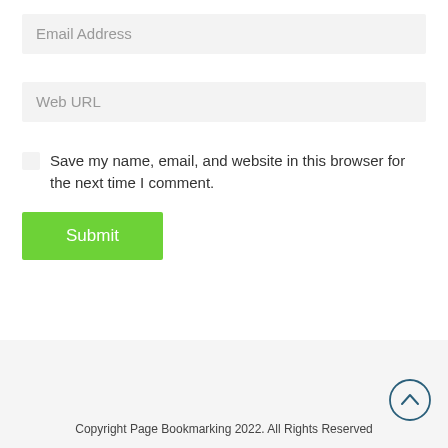Email Address
Web URL
Save my name, email, and website in this browser for the next time I comment.
Submit
Copyright Page Bookmarking 2022. All Rights Reserved